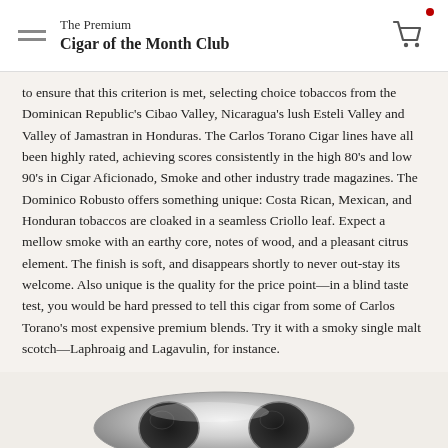The Premium Cigar of the Month Club
to ensure that this criterion is met, selecting choice tobaccos from the Dominican Republic's Cibao Valley, Nicaragua's lush Esteli Valley and Valley of Jamastran in Honduras. The Carlos Torano Cigar lines have all been highly rated, achieving scores consistently in the high 80's and low 90's in Cigar Aficionado, Smoke and other industry trade magazines. The Dominico Robusto offers something unique: Costa Rican, Mexican, and Honduran tobaccos are cloaked in a seamless Criollo leaf. Expect a mellow smoke with an earthy core, notes of wood, and a pleasant citrus element. The finish is soft, and disappears shortly to never out-stay its welcome. Also unique is the quality for the price point—in a blind taste test, you would be hard pressed to tell this cigar from some of Carlos Torano's most expensive premium blends. Try it with a smoky single malt scotch—Laphroaig and Lagavulin, for instance.
[Figure (photo): A cigar cutter shown from above against a light beige background, silver metal body with two circular blade holes visible.]